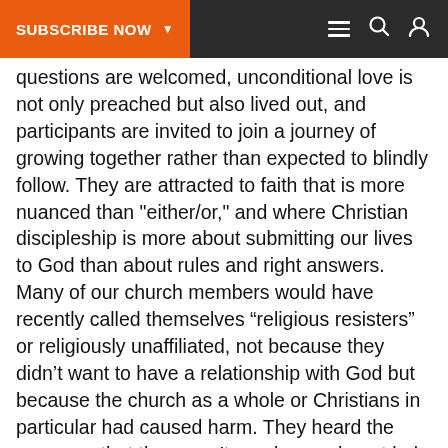SUBSCRIBE NOW ▾
questions are welcomed, unconditional love is not only preached but also lived out, and participants are invited to join a journey of growing together rather than expected to blindly follow. They are attracted to faith that is more nuanced than "either/or," and where Christian discipleship is more about submitting our lives to God than about rules and right answers. Many of our church members would have recently called themselves “religious resisters” or religiously unaffiliated, not because they didn’t want to have a relationship with God but because the church as a whole or Christians in particular had caused harm. They heard the message that they aren’t good enough, not holy enough, and God’s love isn’t for them (at least not